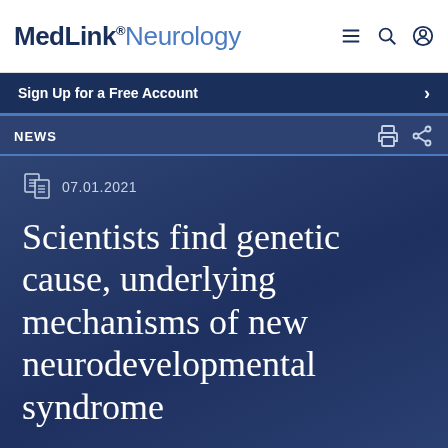MedLink® Neurology
Sign Up for a Free Account
NEWS
07.01.2021
Scientists find genetic cause, underlying mechanisms of new neurodevelopmental syndrome